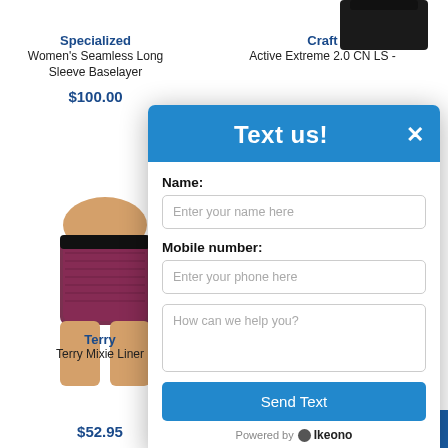Specialized
Women's Seamless Long Sleeve Baselayer
$100.00
Craft
Active Extreme 2.0 CN LS -
[Figure (screenshot): A 'Text us!' chat popup modal overlay on a product listing page. The modal has a blue header with 'Text us!' title and X close button. Below are form fields: Name (with placeholder 'Enter your name here'), Mobile number (with placeholder 'Enter your phone here'), a textarea (with placeholder 'How can we help you?'), a blue 'Send Text' button, and 'Powered by Ikeono' footer.]
Terry
Terry Mixie Liner
$52.95
$79.95